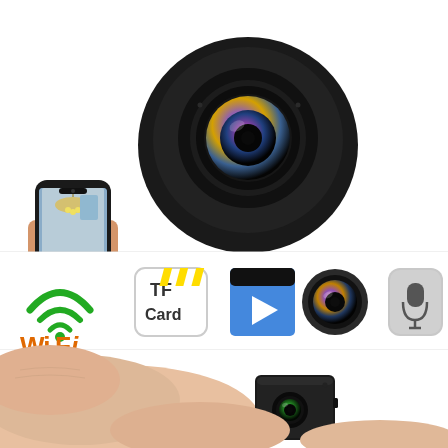[Figure (photo): Product marketing collage for a mini WiFi spy camera. Top section shows a large black round mini camera with a wide-angle lens closeup, and a hand holding a small black cube camera showing its lens. Left side shows a hand holding a smartphone displaying a bedroom interior (camera live view). Middle strip shows icons: WiFi logo in green/orange, TF Card label in a rounded rectangle, a video clapperboard icon, a camera lens icon, and a microphone icon on gray background. Bottom section shows a hand holding a tiny black mini camera very close up showing its green lens.]